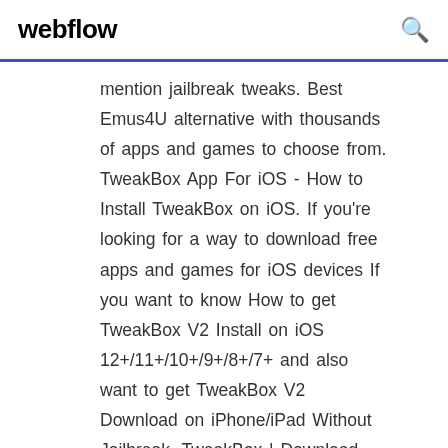webflow
mention jailbreak tweaks. Best Emus4U alternative with thousands of apps and games to choose from. TweakBox App For iOS - How to Install TweakBox on iOS. If you're looking for a way to download free apps and games for iOS devices If you want to know How to get TweakBox V2 Install on iOS 12+/11+/10+/9+/8+/7+ and also want to get TweakBox V2 Download on iPhone/iPad Without Jailbreak. TweakBox | Download TweakBox For iPhone/iPad/. Just follow our simple guide and Download TweakBox for iOS iPhone Without Jailbreak your iOS device. Get Cheap iPhones HERE: iPhone SE ($150) US: https://amzn.to/393sm5p UK: https://amzn.to/34I7x7I iPhone 6S ($135) US: